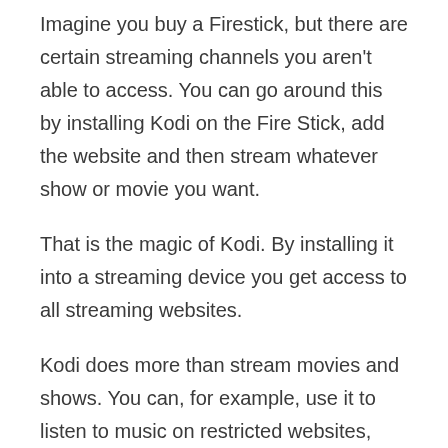Imagine you buy a Firestick, but there are certain streaming channels you aren't able to access. You can go around this by installing Kodi on the Fire Stick, add the website and then stream whatever show or movie you want.
That is the magic of Kodi. By installing it into a streaming device you get access to all streaming websites.
Kodi does more than stream movies and shows. You can, for example, use it to listen to music on restricted websites, watch YouTube, sports, news and so much more. You can also use it to listen to podcasts.